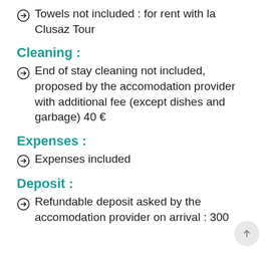Towels not included : for rent with la Clusaz Tour
Cleaning :
End of stay cleaning not included, proposed by the accomodation provider with additional fee (except dishes and garbage) 40 €
Expenses :
Expenses included
Deposit :
Refundable deposit asked by the accomodation provider on arrival : 300